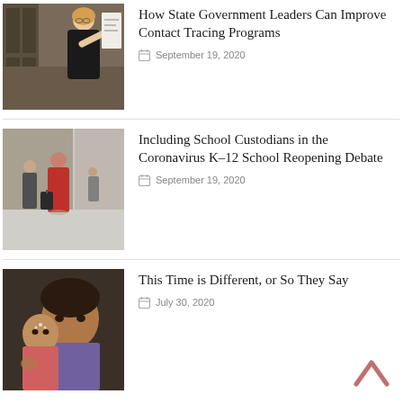[Figure (photo): Woman in black outfit pointing at a whiteboard or chart in an office setting]
How State Government Leaders Can Improve Contact Tracing Programs
September 19, 2020
[Figure (photo): People walking on a city street, one person in red outfit pulling a suitcase]
Including School Custodians in the Coronavirus K–12 School Reopening Debate
September 19, 2020
[Figure (photo): Woman holding a young child, both looking at the camera]
This Time is Different, or So They Say
July 30, 2020